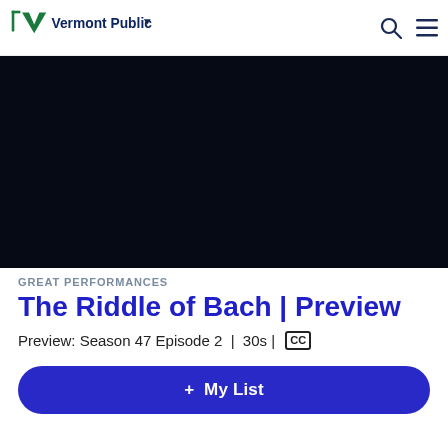Vermont Public
[Figure (screenshot): Black video player area for The Riddle of Bach preview]
GREAT PERFORMANCES
The Riddle of Bach | Preview
Preview: Season 47 Episode 2 | 30s | CC
+ My List